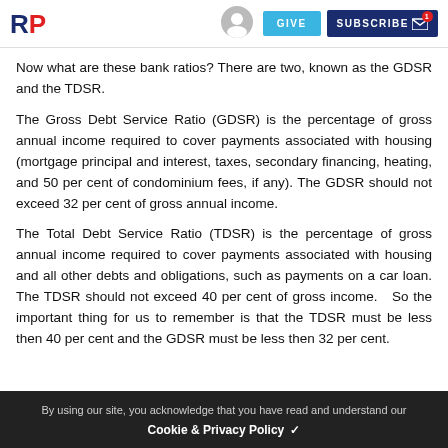RP | GIVE | SUBSCRIBE
Now what are these bank ratios? There are two, known as the GDSR and the TDSR.
The Gross Debt Service Ratio (GDSR) is the percentage of gross annual income required to cover payments associated with housing (mortgage principal and interest, taxes, secondary financing, heating, and 50 per cent of condominium fees, if any). The GDSR should not exceed 32 per cent of gross annual income.
The Total Debt Service Ratio (TDSR) is the percentage of gross annual income required to cover payments associated with housing and all other debts and obligations, such as payments on a car loan. The TDSR should not exceed 40 per cent of gross income.   So the important thing for us to remember is that the TDSR must be less then 40 per cent and the GDSR must be less then 32 per cent.
By using our site, you acknowledge that you have read and understand our Cookie & Privacy Policy ✓